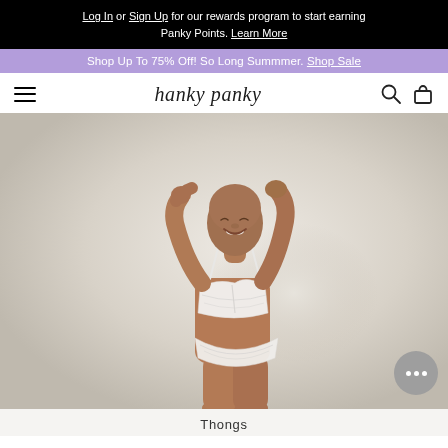Log In or Sign Up for our rewards program to start earning Panky Points. Learn More
Shop Up To 75% Off! So Long Summmer. Shop Sale
[Figure (logo): hanky panky brand logo in italic serif font]
[Figure (photo): Model with shaved head, arms raised, wearing white lace bralette and white lace thong underwear, against a warm neutral background]
Thongs